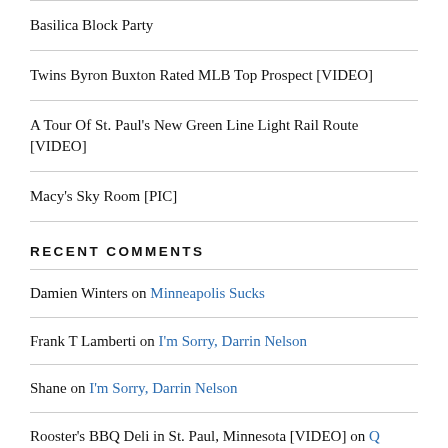Basilica Block Party
Twins Byron Buxton Rated MLB Top Prospect [VIDEO]
A Tour Of St. Paul's New Green Line Light Rail Route [VIDEO]
Macy's Sky Room [PIC]
RECENT COMMENTS
Damien Winters on Minneapolis Sucks
Frank T Lamberti on I'm Sorry, Darrin Nelson
Shane on I'm Sorry, Darrin Nelson
Rooster's BBQ Deli in St. Paul, Minnesota [VIDEO] on Q Fanatic BBQ